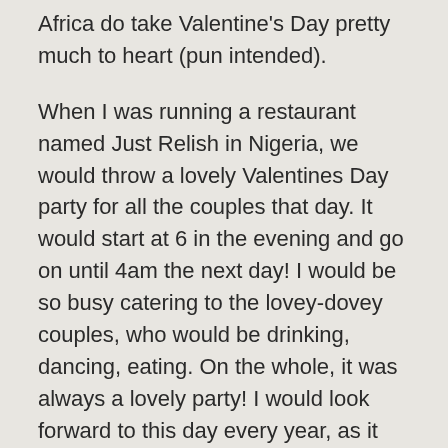Africa do take Valentine's Day pretty much to heart (pun intended).
When I was running a restaurant named Just Relish in Nigeria, we would throw a lovely Valentines Day party for all the couples that day. It would start at 6 in the evening and go on until 4am the next day! I would be so busy catering to the lovey-dovey couples, who would be drinking, dancing, eating. On the whole, it was always a lovely party! I would look forward to this day every year, as it was such a lovely celebration. Valentine's Day was not just restricted to young couples, even people with families would spend time with each other, sometimes eating out, but more often cooking up delicious meals for everyone at home. I think we all love to associate festivals and events with food – it is pretty universal. And such festivals are celebrated with much gusto, especially in